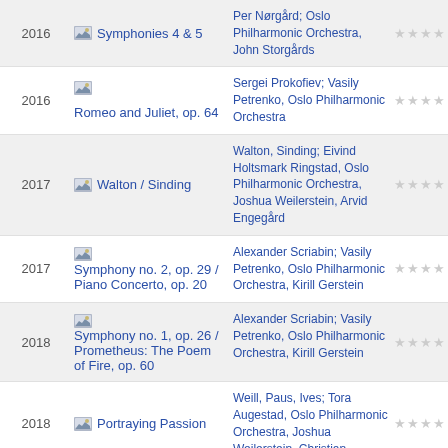| Year | Title | Artist/Orchestra | Rating |
| --- | --- | --- | --- |
| 2016 | Symphonies 4 & 5 | Per Nørgård; Oslo Philharmonic Orchestra, John Storgårds | ★★★★ |
| 2016 | Romeo and Juliet, op. 64 | Sergei Prokofiev; Vasily Petrenko, Oslo Philharmonic Orchestra | ★★★★ |
| 2017 | Walton / Sinding | Walton, Sinding; Eivind Holtsmark Ringstad, Oslo Philharmonic Orchestra, Joshua Weilerstein, Arvid Engegård | ★★★★ |
| 2017 | Symphony no. 2, op. 29 / Piano Concerto, op. 20 | Alexander Scriabin; Vasily Petrenko, Oslo Philharmonic Orchestra, Kirill Gerstein | ★★★★ |
| 2018 | Symphony no. 1, op. 26 / Prometheus: The Poem of Fire, op. 60 | Alexander Scriabin; Vasily Petrenko, Oslo Philharmonic Orchestra, Kirill Gerstein | ★★★★ |
| 2018 | Portraying Passion | Weill, Paus, Ives; Tora Augestad, Oslo Philharmonic Orchestra, Joshua Weilerstein, Christian F... | ★★★★ |